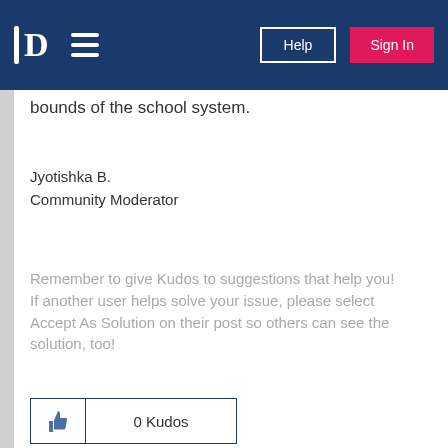P [logo] [hamburger menu] Help Sign In
bounds of the school system.
Jyotishka B.
Community Moderator
Remember to give Kudos to suggestions that help you!
If another user helps solve your issue, please select Accept As Solution on their post so others can see the solution, too!
0 Kudos